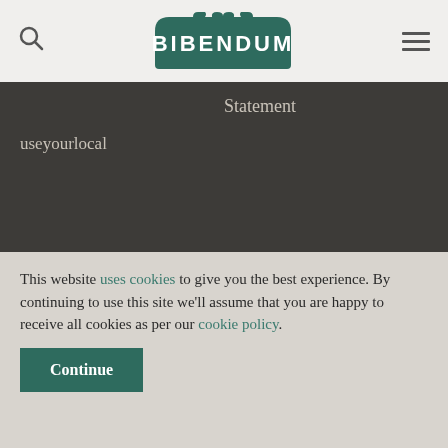[Figure (logo): Bibendum wine merchant logo — green rectangular badge with arch top, white text BIBENDUM]
Statement
useyourlocal
Our Awards
[Figure (illustration): SWA Sommelier Wine Awards circular badge/medallion in gold and dark tones, text: BY THE ON-TRADE FOR THE ON-TRADE, SWA SOMMELIER WINE AWARDS, + Hardles]
This website uses cookies to give you the best experience. By continuing to use this site we'll assume that you are happy to receive all cookies as per our cookie policy.
Continue